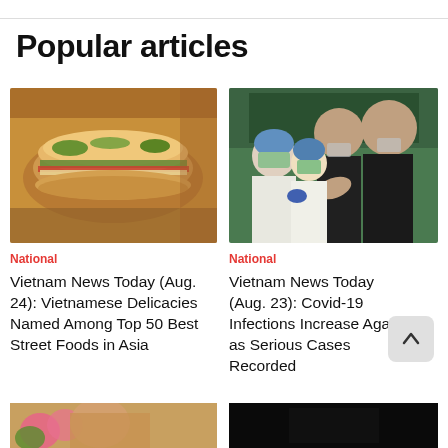Popular articles
[Figure (photo): Close-up photo of a Vietnamese banh mi sandwich with vegetables and herbs on a wooden surface]
National
Vietnam News Today (Aug. 24): Vietnamese Delicacies Named Among Top 50 Best Street Foods in Asia
[Figure (photo): Medical workers in protective gear administering vaccines to students in a classroom setting]
National
Vietnam News Today (Aug. 23): Covid-19 Infections Increase Again as Serious Cases Recorded
[Figure (photo): Partial view of bottom left image showing flowers and a person]
[Figure (photo): Partial view of bottom right image, dark background]